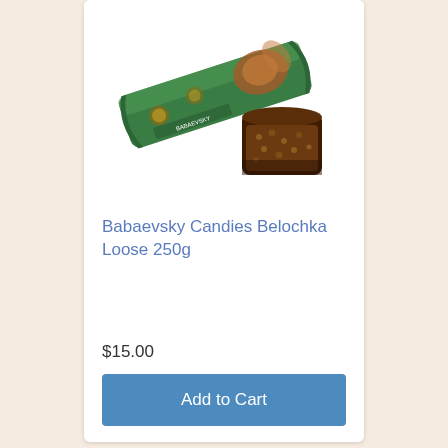[Figure (photo): Photo of Babaevsky Candies Belochka - a chocolate candy bar with green foil packaging featuring a squirrel illustration, shown alongside a cross-section revealing the chocolate and nut filling inside]
Babaevsky Candies Belochka Loose 250g
$15.00
Add to Cart